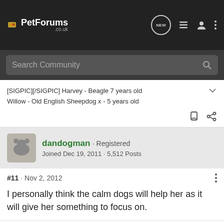PetForums .co.uk — navigation bar with NEW, list, user, and menu icons
Search Community
[SIGPIC][/SIGPIC] Harvey - Beagle 7 years old
Willow - Old English Sheepdog x - 5 years old
dandogman · Registered
Joined Dec 19, 2011 · 5,512 Posts
#11 · Nov 2, 2012
I personally think the calm dogs will help her as it will give her something to focus on.